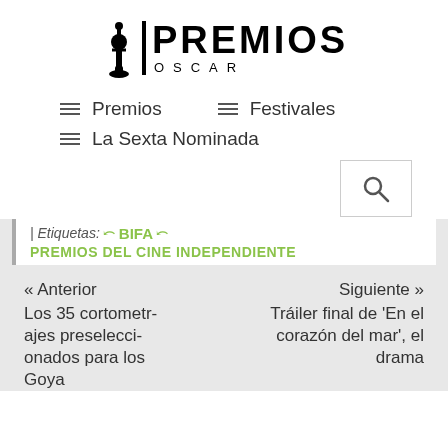[Figure (logo): Premios Oscar logo with Oscar statuette silhouette and bold text PREMIOS above OSCAR in spaced letters]
≡ Premios
≡ Festivales
≡ La Sexta Nominada
[Figure (other): Search button with magnifying glass icon]
| Etiquetas: ☞ BIFA ☞ PREMIOS DEL CINE INDEPENDIENTE
« Anterior
Los 35 cortometrajes preseleccionados para los Goya
Siguiente »
Tráiler final de 'En el corazón del mar', el drama